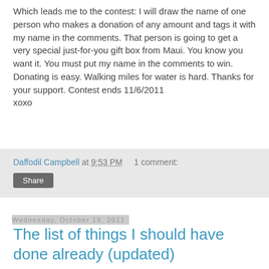Which leads me to the contest: I will draw the name of one person who makes a donation of any amount and tags it with my name in the comments. That person is going to get a very special just-for-you gift box from Maui. You know you want it. You must put my name in the comments to win. Donating is easy. Walking miles for water is hard. Thanks for your support. Contest ends 11/6/2011
xoxo
Daffodil Campbell at 9:53 PM   1 comment:
Share
Wednesday, October 19, 2011
The list of things I should have done already (updated)
In life, there have been two things that have prevented me from doing things I want to do: